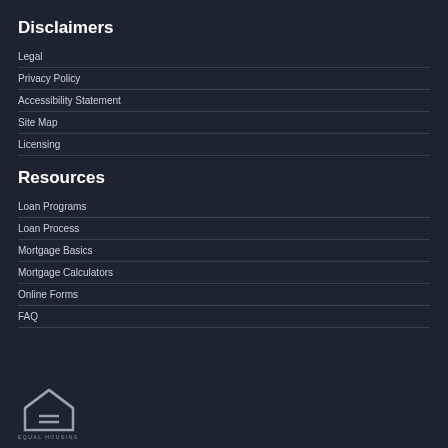Disclaimers
Legal
Privacy Policy
Accessibility Statement
Site Map
Licensing
Resources
Loan Programs
Loan Process
Mortgage Basics
Mortgage Calculators
Online Forms
FAQ
[Figure (logo): Equal Housing logo — house outline with an equals sign inside, with text 'EQUAL HOUSING' below]